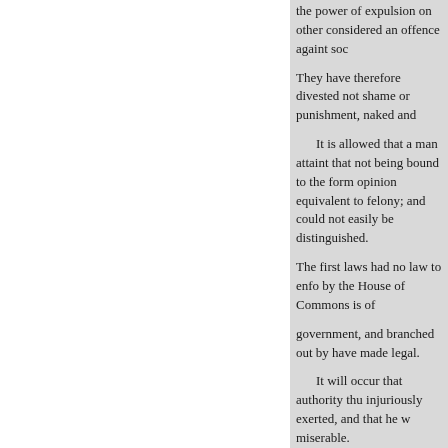the power of expulsion on other considered an offence againt soc
They have therefore divested not shame or punishment, naked and
It is allowed that a man attaint that not being bound to the form opinion equivalent to felony; and could not easily be distinguished.
The first laws had no law to enfo by the House of Commons is of
government, and branched out by have made legal.
It will occur that authority thu injuriously exerted, and that he w miserable.
The position is true, but the argu control. If they are exempt they n longer legislative.
If the possibility of abuse be a actual abuse destroys its legality,
This power, which the Common